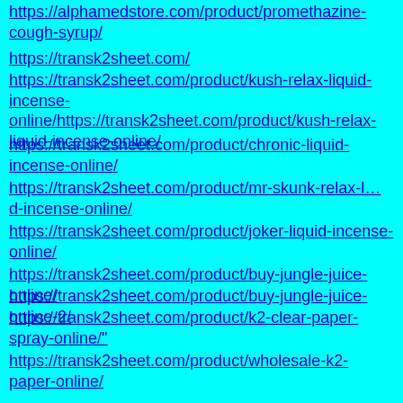https://alphamedstore.com/product/promethazine-cough-syrup/
https://transk2sheet.com/
https://transk2sheet.com/product/kush-relax-liquid-incense-online/https://transk2sheet.com/product/kush-relax-liquid-incense-online/
https://transk2sheet.com/product/chronic-liquid-incense-online/
https://transk2sheet.com/product/mr-skunk-relax-l…d-incense-online/
https://transk2sheet.com/product/joker-liquid-incense-online/
https://transk2sheet.com/product/buy-jungle-juice-online/
https://transk2sheet.com/product/buy-jungle-juice-online-2/
https://transk2sheet.com/product/k2-clear-paper-spray-online/"
https://transk2sheet.com/product/wholesale-k2-paper-online/
https://transk2sheet.com/product/kush-liquid-ince…-on-paper-online/
https://transk2sheet.com/product/buy-k2-spice-paper-online/
https://transk2sheet.com/product/buy-k2-e-liquid-…-on-paper-online/
https://transk2sheet.com/product/buy-k2-e-liquid-…-play-5ml-online/
https://transk2sheet.com/product/buy-k2-e-liquid-…e-red-5ml-online/